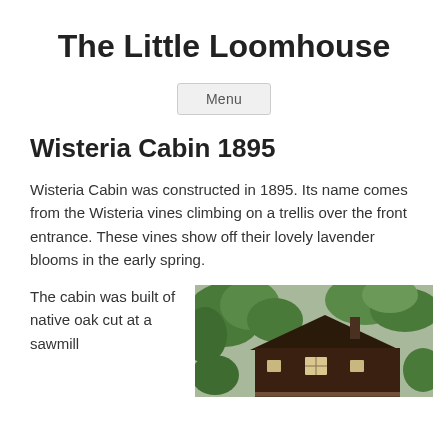The Little Loomhouse
Menu
Wisteria Cabin 1895
Wisteria Cabin was constructed in 1895. Its name comes from the Wisteria vines climbing on a trellis over the front entrance. These vines show off their lovely lavender blooms in the early spring.
The cabin was built of native oak cut at a sawmill
[Figure (photo): Photo of a dark brown cabin structure partially obscured by lush green trees, showing a peaked roof and a small window.]